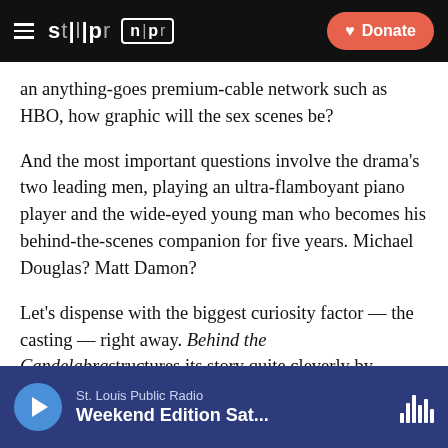STLPR NPR | Donate
an anything-goes premium-cable network such as HBO, how graphic will the sex scenes be?
And the most important questions involve the drama's two leading men, playing an ultra-flamboyant piano player and the wide-eyed young man who becomes his behind-the-scenes companion for five years. Michael Douglas? Matt Damon?
Let's dispense with the biggest curiosity factor — the casting — right away. Behind the Candelabra structures its story quite cleverly by starting with Damon as shaggy-haired Scott Thorson, a farm boy of sorts who works as a dog trainer for Hollywood films, lives with
St. Louis Public Radio
Weekend Edition Sat...